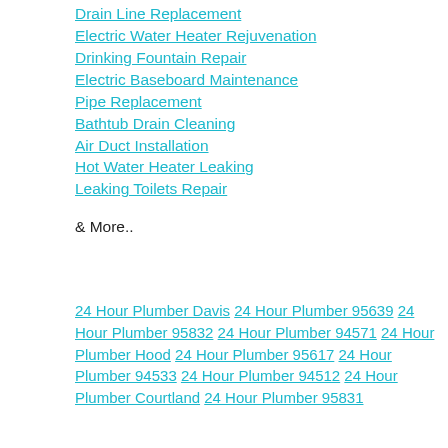Drain Line Replacement
Electric Water Heater Rejuvenation
Drinking Fountain Repair
Electric Baseboard Maintenance
Pipe Replacement
Bathtub Drain Cleaning
Air Duct Installation
Hot Water Heater Leaking
Leaking Toilets Repair
& More..
24 Hour Plumber Davis 24 Hour Plumber 95639 24 Hour Plumber 95832 24 Hour Plumber 94571 24 Hour Plumber Hood 24 Hour Plumber 95617 24 Hour Plumber 94533 24 Hour Plumber 94512 24 Hour Plumber Courtland 24 Hour Plumber 95831